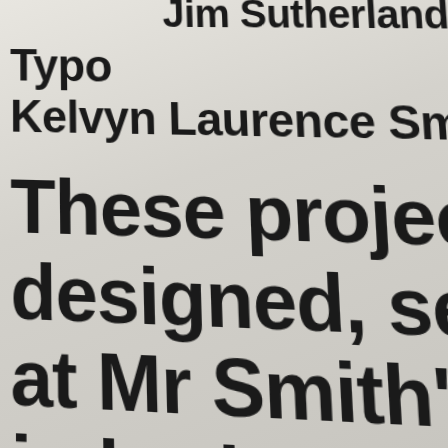Jim Sutherland
Typo
Kelvyn Laurence Sm
These projects a
designed, set a
at Mr Smith'
in both Lon